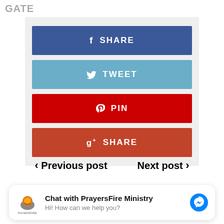GATE
[Figure (screenshot): Social share buttons: Facebook SHARE (blue), Twitter TWEET (light blue), Pinterest PIN (red), Google+ SHARE (dark red)]
< Previous post   Next post >
Chat with PrayersFire Ministry
Hi! How can we help you?